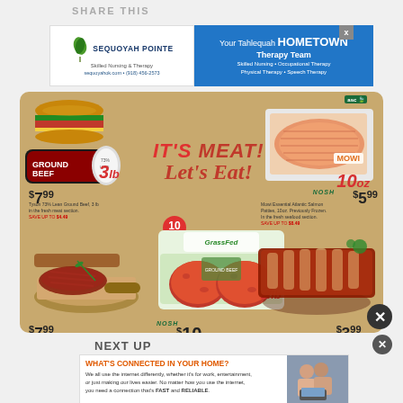SHARE THIS
[Figure (advertisement): Sequoyah Pointe Skilled Nursing & Therapy ad banner with logo and blue right panel: 'Your Tahlequah HOMETOWN Therapy Team - Skilled Nursing • Occupational Therapy • Physical Therapy • Speech Therapy'. sequoyahok.com • (918) 456-2573]
[Figure (infographic): Grocery meat sale advertisement on tan background. IT'S MEAT! Let's Eat! headline. Products: Tyson 73% Lean Ground Beef 3lb $7.99, Mowi Essential Atlantic Salmon Fillets 10oz $5.99, Austin Meat Company Boneless New York Strip Steak $7.99/lb, Thomas Farms Grass Fed 80% Lean Ground Beef Burger Patties 2lb $10 (10 patties, NOSH brand), St. Louis Style Pork Spareribs $3.99/lb]
NEXT UP
[Figure (advertisement): Internet service ad: 'WHAT'S CONNECTED IN YOUR HOME? We all use the internet differently, whether it's for work, entertainment, or just making our lives easier. No matter how you use the internet, you need a connection that's FAST and RELIABLE.' with photo of couple with laptop]